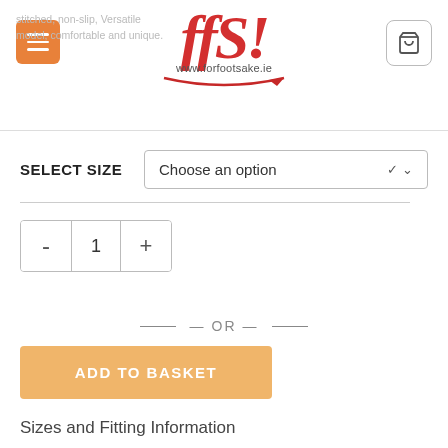stitched, non-slip, Versatile model, comfortable and unique.
[Figure (logo): ffS! forfootsake.ie logo in red italic serif font with decorative underline]
SELECT SIZE
Choose an option
- 1 +
— OR —
ADD TO BASKET
Sizes and Fitting Information